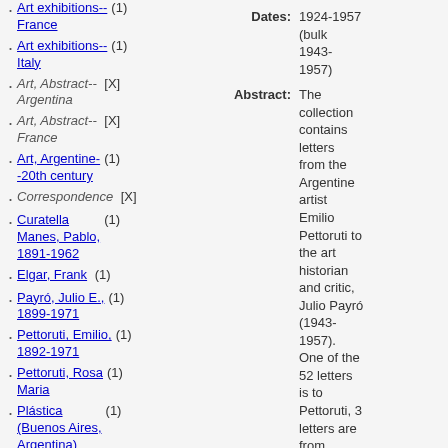Art exhibitions--France (1)
Art exhibitions--Italy (1)
Art, Abstract--Argentina [X]
Art, Abstract--France [X]
Art, Argentine--20th century (1)
Correspondence [X]
Curatella Manes, Pablo, 1891-1962 (1)
Elgar, Frank (1)
Payró, Julio E., 1899-1971 (1)
Pettoruti, Emilio, 1892-1971 (1)
Pettoruti, Rosa Maria (1)
Plástica (Buenos Aires, Argentina) (1)
Studio (London) (1)
Dates: 1924-1957 (bulk 1943-1957)
Abstract: The collection contains letters from the Argentine artist Emilio Pettoruti to the art historian and critic, Julio Payró (1943-1957). One of the 52 letters is to Pettoruti, 3 letters are from Pettoruti's wife. A one page